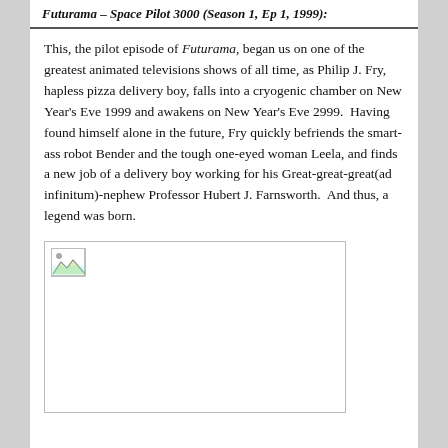Futurama – Space Pilot 3000 (Season 1, Ep 1, 1999):
This, the pilot episode of Futurama, began us on one of the greatest animated televisions shows of all time, as Philip J. Fry, hapless pizza delivery boy, falls into a cryogenic chamber on New Year's Eve 1999 and awakens on New Year's Eve 2999.  Having found himself alone in the future, Fry quickly befriends the smart-ass robot Bender and the tough one-eyed woman Leela, and finds a new job of a delivery boy working for his Great-great-great(ad infinitum)-nephew Professor Hubert J. Farnsworth.  And thus, a legend was born.
[Figure (photo): Broken/missing image placeholder box with small broken image icon in top-left corner]